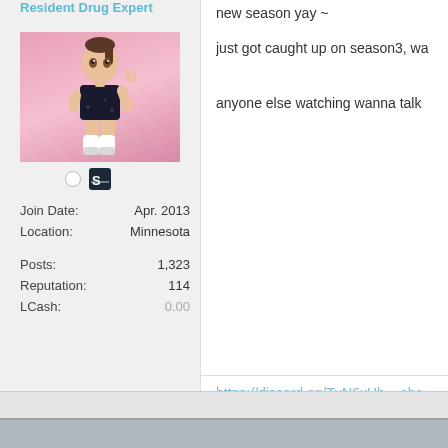Resident Drug Expert
[Figure (illustration): Anime-style avatar of a girl with brown hair in a ponytail, wearing a black dress and white boots, on a pink background. Below the avatar are two icons: a circle and a Steam icon.]
| Join Date: | Apr. 2013 |
| Location: | Minnesota |
| Posts: | 1,323 |
| Reputation: | 114 |
| LCash: | 0.00 |
new season yay ~
just got caught up on season3, wa
anyone else watching wanna talk
https://discord.gg/TvN6xUb ~ cha